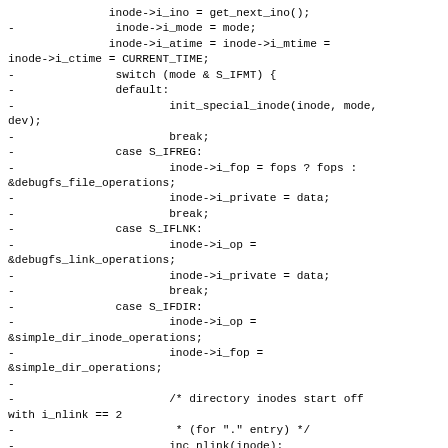inode->i_ino = get_next_ino();
-               inode->i_mode = mode;
               inode->i_atime = inode->i_mtime =
inode->i_ctime = CURRENT_TIME;
-               switch (mode & S_IFMT) {
-               default:
-                       init_special_inode(inode, mode,
dev);
-                       break;
-               case S_IFREG:
-                       inode->i_fop = fops ? fops :
&debugfs_file_operations;
-                       inode->i_private = data;
-                       break;
-               case S_IFLNK:
-                       inode->i_op =
&debugfs_link_operations;
-                       inode->i_private = data;
-                       break;
-               case S_IFDIR:
-                       inode->i_op =
&simple_dir_inode_operations;
-                       inode->i_fop =
&simple_dir_operations;
-
-                       /* directory inodes start off
with i_nlink == 2
-                        * (for "." entry) */
-                       inc_nlink(inode);
-                       break;
-               }